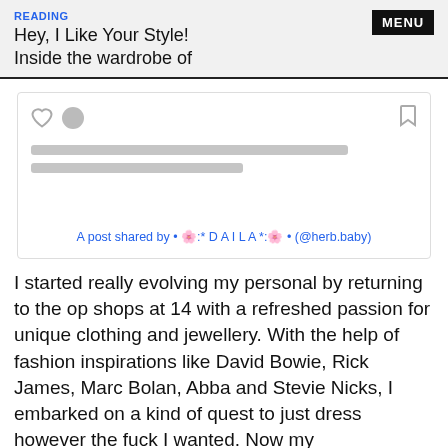READING
Hey, I Like Your Style!
Inside the wardrobe of
[Figure (screenshot): Embedded social media post card with heart icon, circle icon, bookmark icon, two grey placeholder lines, and a blue caption link reading: A post shared by • 🌸:* D A I L A *:🌸 • (@herb.baby)]
I started really evolving my personal by returning to the op shops at 14 with a refreshed passion for unique clothing and jewellery. With the help of fashion inspirations like David Bowie, Rick James, Marc Bolan, Abba and Stevie Nicks, I embarked on a kind of quest to just dress however the fuck I wanted. Now my